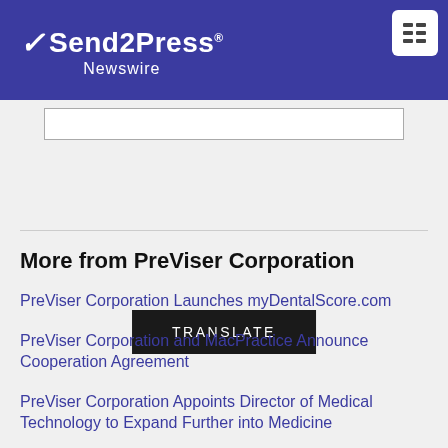Send2Press Newswire
[Figure (other): Black TRANSLATE button]
More from PreViser Corporation
PreViser Corporation Launches myDentalScore.com
PreViser Corporation and MacPractice Announce Cooperation Agreement
PreViser Corporation Appoints Director of Medical Technology to Expand Further into Medicine
PreViser and Oral Health Innovations Ltd Form UK Partnership to Provide Oral Health Scoring and Risk